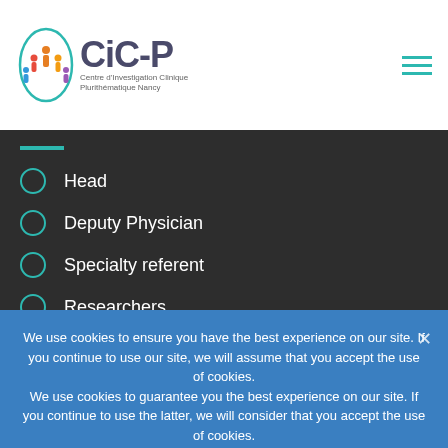[Figure (logo): CiC-P Centre d'Investigation Clinique logo with colorful figures icon]
Head
Deputy Physician
Specialty referent
Researchers
We use cookies to ensure you have the best experience on our site. If you continue to use our site, we will assume that you accept the use of cookies.
We use cookies to guarantee you the best experience on our site. If you continue to use the latter, we will consider that you accept the use of cookies.
OK